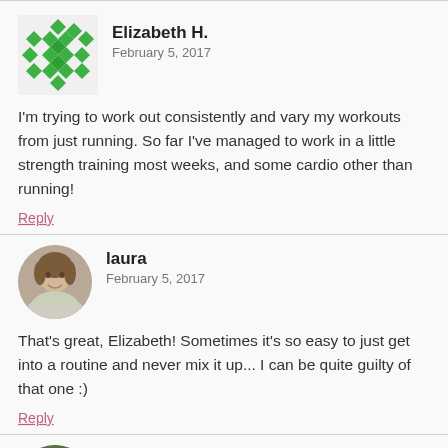[Figure (illustration): Green pixel/diamond decorative avatar for Elizabeth H.]
Elizabeth H.
February 5, 2017
I'm trying to work out consistently and vary my workouts from just running. So far I've managed to work in a little strength training most weeks, and some cardio other than running!
Reply
[Figure (photo): Circular avatar photo of Laura, a woman smiling outdoors.]
laura
February 5, 2017
That's great, Elizabeth! Sometimes it's so easy to just get into a routine and never mix it up... I can be quite guilty of that one :)
Reply
[Figure (photo): Circular avatar photo of Kate, a woman smiling.]
Kate @ Kate Lives Healthy
February 5, 2017
While I don't make 'official' resolutions I did want to try to carve out more time to read this year. I